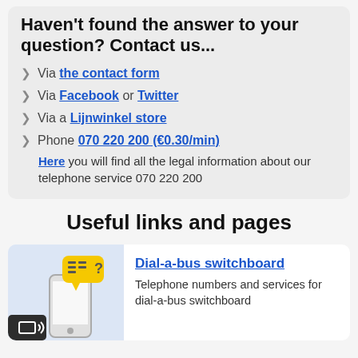Haven't found the answer to your question? Contact us...
Via the contact form
Via Facebook or Twitter
Via a Lijnwinkel store
Phone 070 220 200 (€0.30/min)
Here you will find all the legal information about our telephone service 070 220 200
Useful links and pages
Dial-a-bus switchboard
Telephone numbers and services for dial-a-bus switchboard